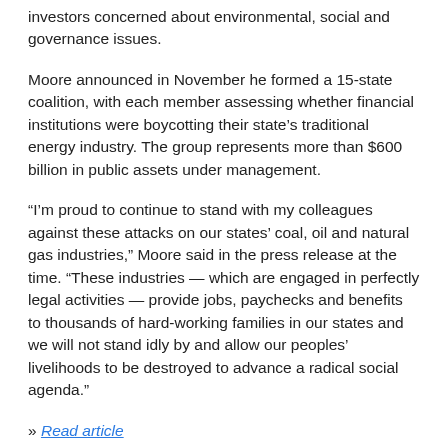investors concerned about environmental, social and governance issues.
Moore announced in November he formed a 15-state coalition, with each member assessing whether financial institutions were boycotting their state’s traditional energy industry. The group represents more than $600 billion in public assets under management.
“I’m proud to continue to stand with my colleagues against these attacks on our states’ coal, oil and natural gas industries,” Moore said in the press release at the time. “These industries — which are engaged in perfectly legal activities — provide jobs, paychecks and benefits to thousands of hard-working families in our states and we will not stand idly by and allow our peoples’ livelihoods to be destroyed to advance a radical social agenda.”
» Read article